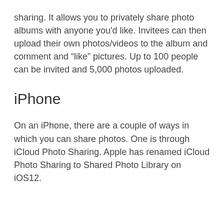sharing. It allows you to privately share photo albums with anyone you'd like. Invitees can then upload their own photos/videos to the album and comment and “like” pictures. Up to 100 people can be invited and 5,000 photos uploaded.
iPhone
On an iPhone, there are a couple of ways in which you can share photos. One is through iCloud Photo Sharing. Apple has renamed iCloud Photo Sharing to Shared Photo Library on iOS12.